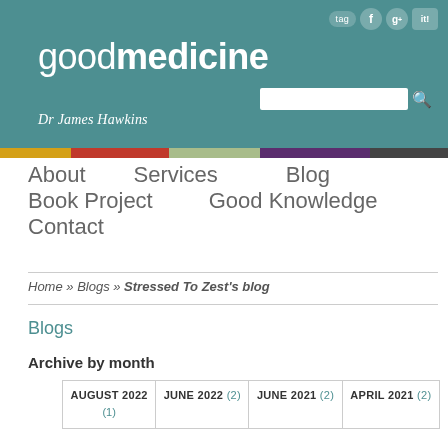goodmedicine — Dr James Hawkins
About   Services   Blog
Book Project   Good Knowledge
Contact
Home » Blogs » Stressed To Zest's blog
Blogs
Archive by month
| AUGUST 2022 (1) | JUNE 2022 (2) | JUNE 2021 (2) | APRIL 2021 (2) |
| --- | --- | --- | --- |